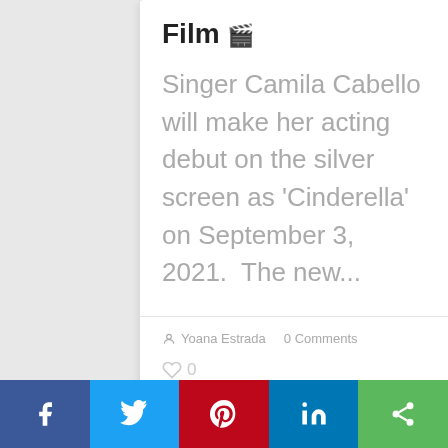Film 🎬
Singer Camila Cabello will make her acting debut on the silver screen as 'Cinderella' on September 3, 2021.  The new...
Yoana Estrada   0 Comments
0